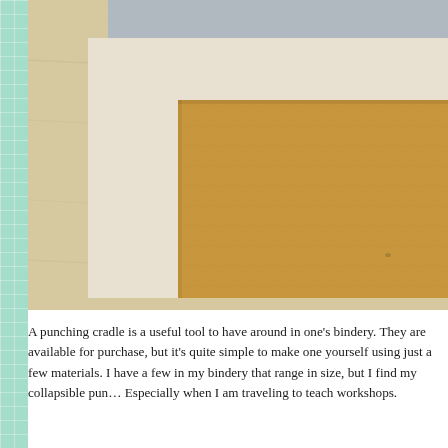[Figure (photo): Close-up photograph of bookbinding materials on a wooden surface. Shows layered paper/board materials with a tan/brown kraft paper rectangle on top of a lighter colored board, with a grey board visible at the top. The materials appear to be components of a punching cradle for bookbinding.]
A punching cradle is a useful tool to have around in one's bindery. They are available for purchase, but it's quite simple to make one yourself using just a few materials. I have a few in my bindery that range in size, but I find my collapsible pun... Especially when I am traveling to teach workshops.